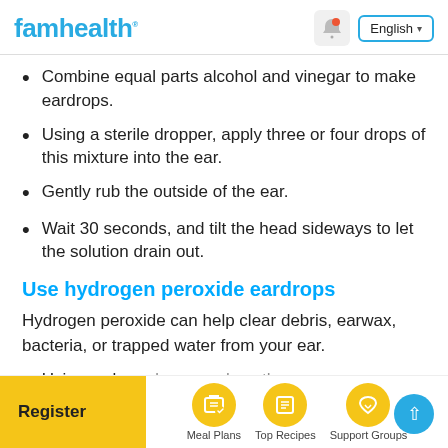famhealth | English
Combine equal parts alcohol and vinegar to make eardrops.
Using a sterile dropper, apply three or four drops of this mixture into the ear.
Gently rub the outside of the ear.
Wait 30 seconds, and tilt the head sideways to let the solution drain out.
Use hydrogen peroxide eardrops
Hydrogen peroxide can help clear debris, earwax, bacteria, or trapped water from your ear.
Using a clean dropper, place three...
Register | Meal Plans | Top Recipes | Support Groups